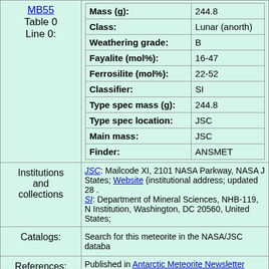| Field | Value |
| --- | --- |
| Table 0 Line 0: | Class: Lunar (anorth)
Weathering grade: B
Fayalite (mol%): 16-47
Ferrosilite (mol%): 22-52
Classifier: SI
Type spec mass (g): 244.8
Type spec location: JSC
Main mass: JSC
Finder: ANSMET |
| Institutions and collections | JSC: Mailcode XI, 2101 NASA Parkway, NASA J... States; Website (institutional address; updated 28 ...) SI: Department of Mineral Sciences, NHB-119, N... Institution, Washington, DC 20560, United States; |
| Catalogs: | Search for this meteorite in the NASA/JSC databa... |
| References: | Published in Antarctic Meteorite Newsletter 33(2)
Published in Meteoritical Bulletin, No. 99, April 2
Find references in NASA ADS:
Find references in Google Scholar: |